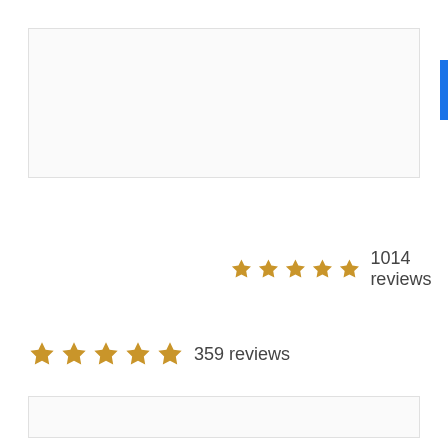[Figure (other): Top bordered box area (whitespace/content placeholder)]
★★★★★ 1014 reviews
★★★★★ 359 reviews
[Figure (other): Bottom bordered box area (whitespace/content placeholder)]